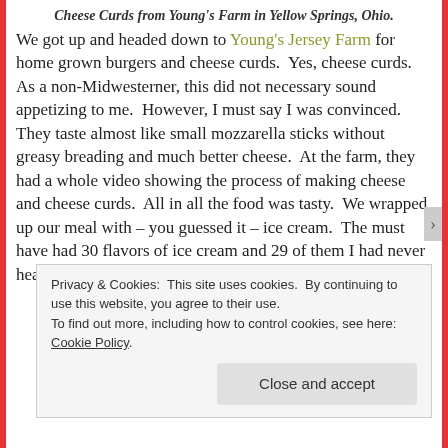Cheese Curds from Young's Farm in Yellow Springs, Ohio.
We got up and headed down to Young's Jersey Farm for home grown burgers and cheese curds.  Yes, cheese curds.  As a non-Midwesterner, this did not necessary sound appetizing to me.  However, I must say I was convinced.  They taste almost like small mozzarella sticks without greasy breading and much better cheese.  At the farm, they had a whole video showing the process of making cheese and cheese curds.  All in all the food was tasty.  We wrapped up our meal with – you guessed it – ice cream.  The must have had 30 flavors of ice cream and 29 of them I had never heard of or tried.  We both had apple dumplings
Privacy & Cookies:  This site uses cookies.  By continuing to use this website, you agree to their use.
To find out more, including how to control cookies, see here: Cookie Policy